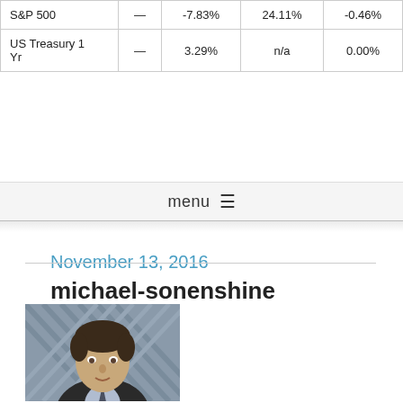|  |  | -7.83% | 24.11% | -0.46% |
| --- | --- | --- | --- | --- |
| S&P 500 | — | -7.83% | 24.11% | -0.46% |
| US Treasury 1 Yr | — | 3.29% | n/a | 0.00% |
menu ☰
November 13, 2016
michael-sonenshine
[Figure (photo): Headshot photo of Michael Sonenshine, a man with dark curly hair wearing a suit and tie, against a geometric background.]